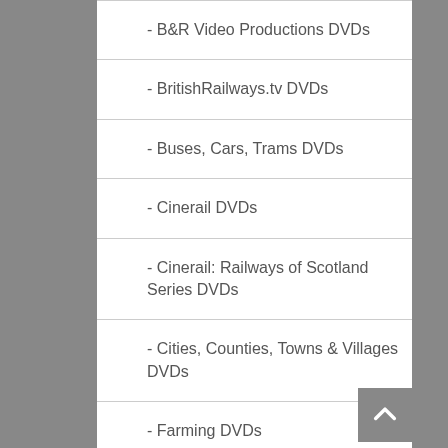- B&R Video Productions DVDs
- BritishRailways.tv DVDs
- Buses, Cars, Trams DVDs
- Cinerail DVDs
- Cinerail: Railways of Scotland Series DVDs
- Cities, Counties, Towns & Villages DVDs
- Farming DVDs
- Ivo Peters Collection DVDs
- Joe Clark Films DVDs